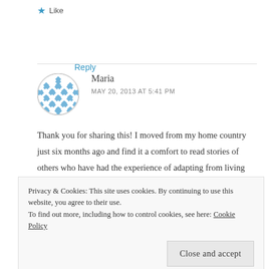★ Like
Reply
Maria
MAY 20, 2013 AT 5:41 PM
Thank you for sharing this! I moved from my home country just six months ago and find it a comfort to read stories of others who have had the experience of adapting from living abroad. I love the
Privacy & Cookies: This site uses cookies. By continuing to use this website, you agree to their use.
To find out more, including how to control cookies, see here: Cookie Policy
Close and accept
★ Like